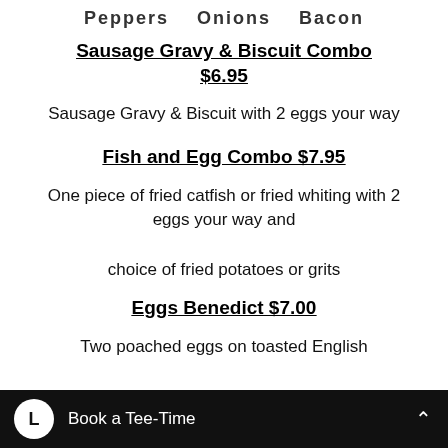Peppers   Onions   Bacon
Sausage Gravy & Biscuit Combo $6.95
Sausage Gravy & Biscuit with 2 eggs your way
Fish and Egg Combo $7.95
One piece of fried catfish or fried whiting with 2 eggs your way and choice of fried potatoes or grits
Eggs Benedict $7.00
Two poached eggs on toasted English
Book a Tee-Time